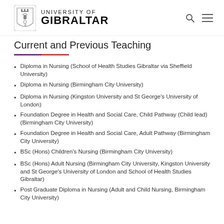UNIVERSITY OF GIBRALTAR
Current and Previous Teaching
Diploma in Nursing (School of Health Studies Gibraltar via Sheffield University)
Diploma in Nursing (Birmingham City University)
Diploma in Nursing (Kingston University and St George's University of London)
Foundation Degree in Health and Social Care, Child Pathway (Child lead) (Birmingham City University)
Foundation Degree in Health and Social Care, Adult Pathway (Birmingham City University)
BSc (Hons) Children's Nursing (Birmingham City University)
BSc (Hons) Adult Nursing (Birmingham City University, Kingston University and St George's University of London and School of Health Studies Gibraltar)
Post Graduate Diploma in Nursing (Adult and Child Nursing, Birmingham City University)